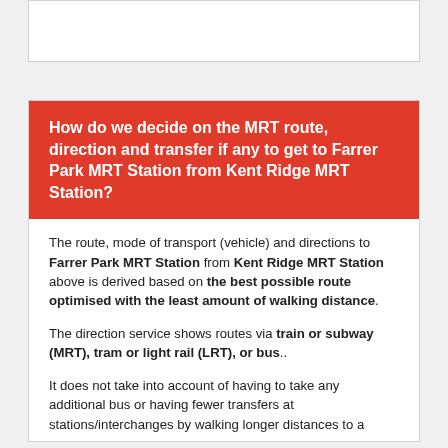How do we decide on the MRT route, direction and transfer if any to get to Farrer Park MRT Station from Kent Ridge MRT Station?
The route, mode of transport (vehicle) and directions to Farrer Park MRT Station from Kent Ridge MRT Station above is derived based on the best possible route optimised with the least amount of walking distance.
The direction service shows routes via train or subway (MRT), tram or light rail (LRT), or bus..
It does not take into account of having to take any additional bus or having fewer transfers at stations/interchanges by walking longer distances to a